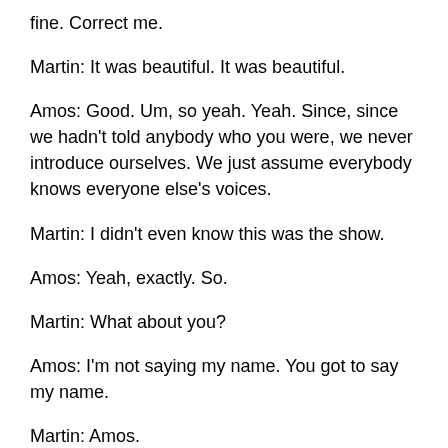Martin: [???], And if you, your name family, it's fine. Correct me.
Martin: It was beautiful. It was beautiful.
Amos: Good. Um, so yeah. Yeah. Since, since we hadn't told anybody who you were, we never introduce ourselves. We just assume everybody knows everyone else's voices.
Martin: I didn't even know this was the show.
Amos: Yeah, exactly. So.
Martin: What about you?
Amos: I'm not saying my name. You got to say my name.
Martin: Amos.
Amos: Yes. I got Martin to say my name. So I know